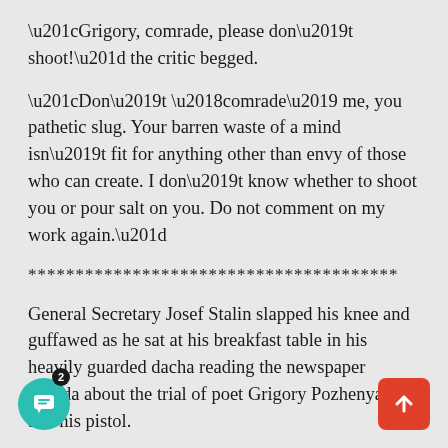“Grigory, comrade, please don’t shoot!” the critic begged.
“Don’t ‘comrade’ me, you pathetic slug. Your barren waste of a mind isn’t fit for anything other than envy of those who can create. I don’t know whether to shoot you or pour salt on you. Do not comment on my work again.”
***************************************
General Secretary Josef Stalin slapped his knee and guffawed as he sat at his breakfast table in his heavily guarded dacha reading the newspaper Pravda about the trial of poet Grigory Pozhenyan and his pistol.
The State Security Chief, Laverentiy Beria, stood at the side grimacing, refusing to laugh. “He must be sent to the Gulag,” the humorless man insisted. “Every gun that is not under our authority is a